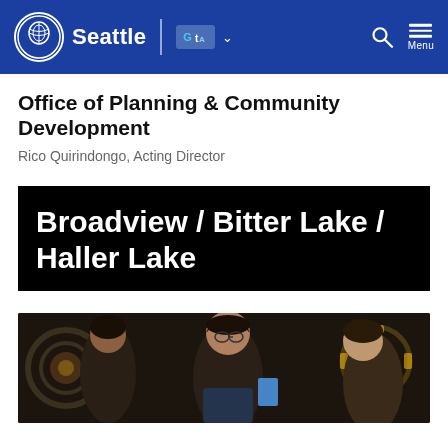Seattle — Office navigation bar with logo, Google Translate, search and menu
Office of Planning & Community Development
Rico Quirindongo, Acting Director
Broadview / Bitter Lake / Haller Lake
[Figure (photo): Group photo of people at an event, with decorative gear and circular art elements visible in the background]